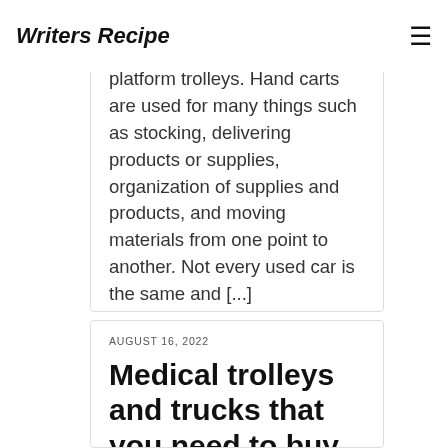Writers Recipe
Businesses like retail outlets, small hospitals and large industrial facilities benefit greatly from the use of platform trolleys. Hand carts are used for many things such as stocking, delivering products or supplies, organization of supplies and products, and moving materials from one point to another. Not every used car is the same and [...]
AUGUST 16, 2022
Medical trolleys and trucks that you need to buy for efficient